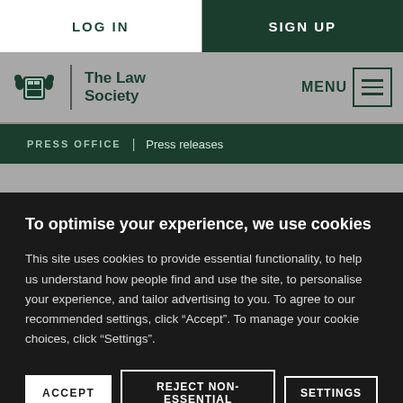LOG IN | SIGN UP
[Figure (logo): The Law Society logo with crest and text, navigation bar with MENU button]
PRESS OFFICE | Press releases
To optimise your experience, we use cookies
This site uses cookies to provide essential functionality, to help us understand how people find and use the site, to personalise your experience, and tailor advertising to you. To agree to our recommended settings, click “Accept”. To manage your cookie choices, click “Settings”.
ACCEPT | REJECT NON-ESSENTIAL | SETTINGS